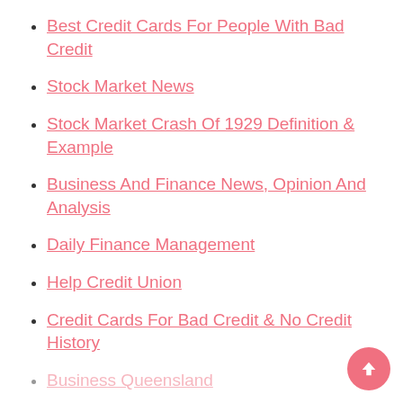Best Credit Cards For People With Bad Credit
Stock Market News
Stock Market Crash Of 1929 Definition & Example
Business And Finance News, Opinion And Analysis
Daily Finance Management
Help Credit Union
Credit Cards For Bad Credit & No Credit History
Business Queensland